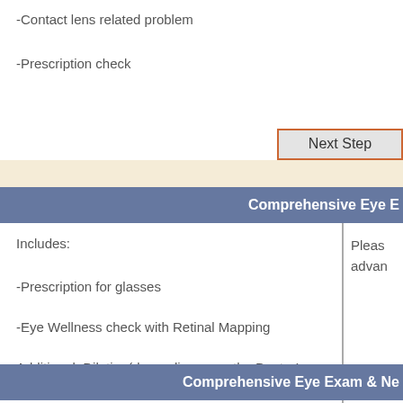-Contact lens related problem
-Prescription check
Next Step
Comprehensive Eye E
Includes:
-Prescription for glasses
-Eye Wellness check with Retinal Mapping
Additional: Dilation(depending upon the Doctor’s recommendations)
Please call or email for further information.
Pleas advan
Next Step
Comprehensive Eye Exam & Ne